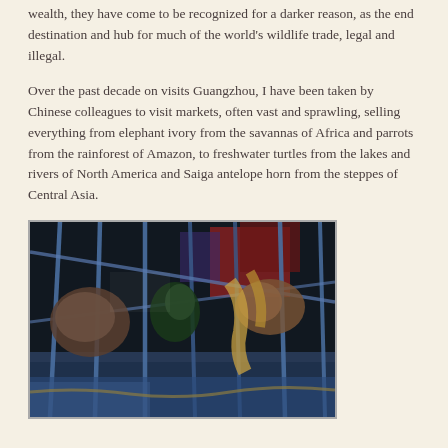wealth, they have come to be recognized for a darker reason, as the end destination and hub for much of the world's wildlife trade, legal and illegal.
Over the past decade on visits Guangzhou, I have been taken by Chinese colleagues to visit markets, often vast and sprawling, selling everything from elephant ivory from the savannas of Africa and parrots from the rainforest of Amazon, to freshwater turtles from the lakes and rivers of North America and Saiga antelope horn from the steppes of Central Asia.
[Figure (photo): A dark photograph showing animals, likely birds or small animals, inside a blue metal cage or crate, with dim lighting.]